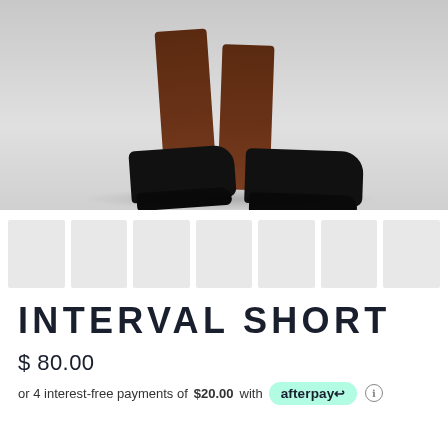[Figure (photo): Product photo showing lower legs wearing black sneakers/athletic shoes against a light grey background]
[Figure (photo): Row of 7 product thumbnail images (grey placeholder boxes) for color/view variants]
INTERVAL SHORT
$ 80.00
or 4 interest-free payments of $20.00 with afterpay